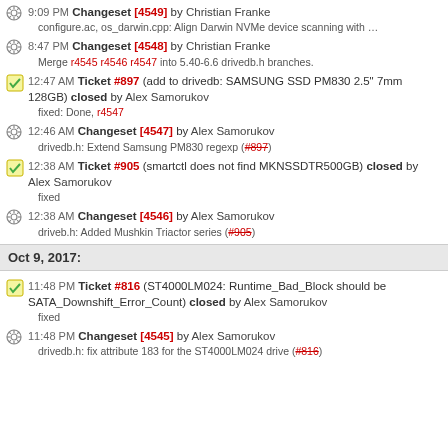9:09 PM Changeset [4549] by Christian Franke
configure.ac, os_darwin.cpp: Align Darwin NVMe device scanning with …
8:47 PM Changeset [4548] by Christian Franke
Merge r4545 r4546 r4547 into 5.40-6.6 drivedb.h branches.
12:47 AM Ticket #897 (add to drivedb: SAMSUNG SSD PM830 2.5" 7mm 128GB) closed by Alex Samorukov
fixed: Done, r4547
12:46 AM Changeset [4547] by Alex Samorukov
drivedb.h: Extend Samsung PM830 regexp (#897)
12:38 AM Ticket #905 (smartctl does not find MKNSSDTR500GB) closed by Alex Samorukov
fixed
12:38 AM Changeset [4546] by Alex Samorukov
driveb.h: Added Mushkin Triactor series (#905)
Oct 9, 2017:
11:48 PM Ticket #816 (ST4000LM024: Runtime_Bad_Block should be SATA_Downshift_Error_Count) closed by Alex Samorukov
fixed
11:48 PM Changeset [4545] by Alex Samorukov
drivedb.h: fix attribute 183 for the ST4000LM024 drive (#816)